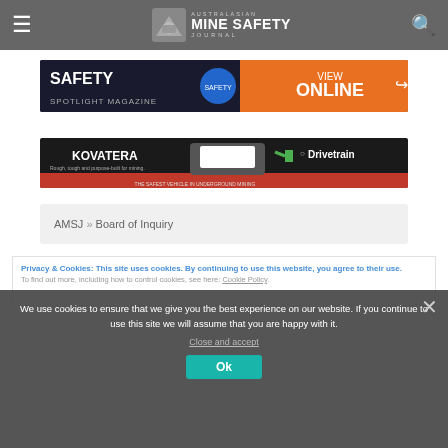Australasian Mine Safety Journal
[Figure (screenshot): Safety Spotlight Magazine banner ad with 'VIEW ONLINE' button]
[Figure (screenshot): Kovatera and Drivetrain advertisement banner for 'The Safest Vehicle in Underground Mining']
AMSJ » Board of Inquiry
Privacy & Cookies: This site uses cookies. By continuing to use this website, you agree to their use.
To find out more, including how to control cookies, see here: Cookie Policy.
We use cookies to ensure that we give you the best experience on our website. If you continue to use this site we will assume that you are happy with it.
Close and accept
Ok